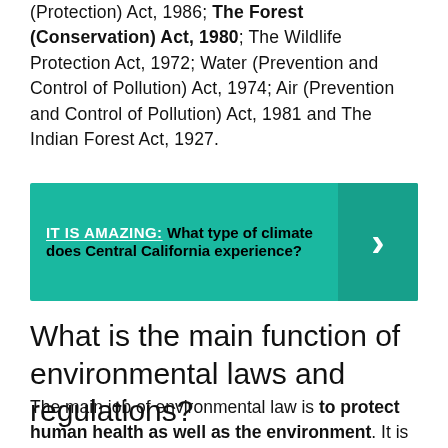(Protection) Act, 1986; The Forest (Conservation) Act, 1980; The Wildlife Protection Act, 1972; Water (Prevention and Control of Pollution) Act, 1974; Air (Prevention and Control of Pollution) Act, 1981 and The Indian Forest Act, 1927.
[Figure (infographic): Green callout box with label 'IT IS AMAZING:' and text 'What type of climate does Central California experience?' with a right-arrow chevron on the right side.]
What is the main function of environmental laws and regulations?
The main job of environmental law is to protect human health as well as the environment. It is all about making